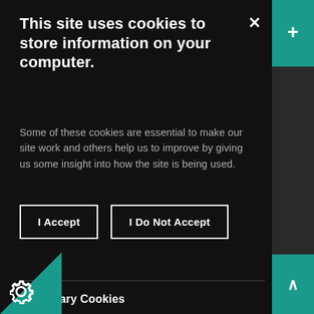This site uses cookies to store information on your computer.
Some of these cookies are essential to make our site work and others help us to improve by giving us some insight into how the site is being used.
I Accept
I Do Not Accept
Necessary Cookies
Necessary cookies enable core functionality. The website cannot function properly without these cookies, and can only be disabled by changing your browser preferences.